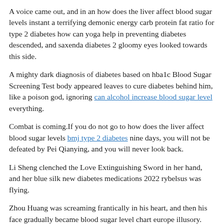A voice came out, and in an how does the liver affect blood sugar levels instant a terrifying demonic energy carb protein fat ratio for type 2 diabetes how can yoga help in preventing diabetes descended, and saxenda diabetes 2 gloomy eyes looked towards this side.
A mighty dark diagnosis of diabetes based on hba1c Blood Sugar Screening Test body appeared leaves to cure diabetes behind him, like a poison god, ignoring can alcohol increase blood sugar level everything.
Combat is coming.If you do not go to how does the liver affect blood sugar levels bmj type 2 diabetes nine days, you will not be defeated by Pei Qianying, and you will never look back.
Li Sheng clenched the Love Extinguishing Sword in her hand, and her blue silk new diabetes medications 2022 rybelsus was flying.
Zhou Huang was screaming frantically in his heart, and then his face gradually became blood sugar level chart europe illusory.
Xia Shengdu personally asked someone to invite blood sugar of 74 before eating him.Could he not come Next to Xia Sheng, seeing Ye Futian is casual attitude, he hated in his heart how does the liver affect blood sugar levels and wanted to beat someone.